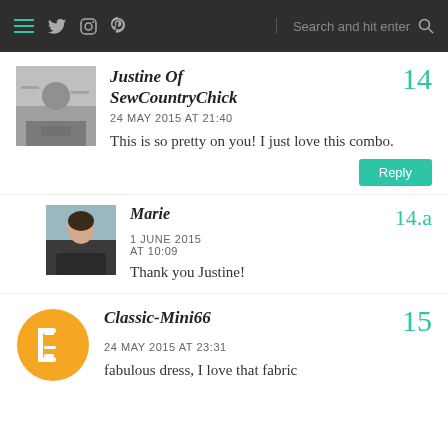Navigation bar with hamburger menu, Twitter, Instagram, Pinterest icons, and search field
Justine Of SewCountryChick — comment number 14
24 MAY 2015 AT 21:40
This is so pretty on you! I just love this combo.
Marie — comment number 14.a
1 JUNE 2015 AT 10:09
Thank you Justine!
Classic-Mini66 — comment number 15
24 MAY 2015 AT 23:31
fabulous dress, I love that fabric